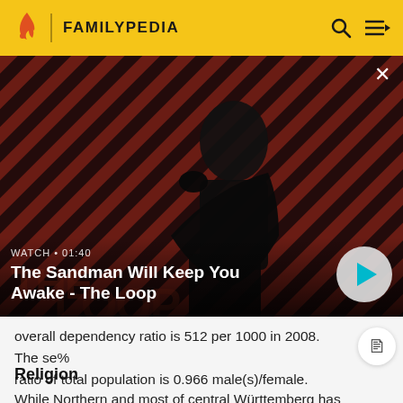FAMILYPEDIA
[Figure (screenshot): Video thumbnail showing a dark-robed figure with a raven on their shoulder against a red and black striped background. Text overlay reads WATCH · 01:40 and The Sandman Will Keep You Awake - The Loop. A play button is visible on the right.]
overall dependency ratio is 512 per 1000 in 2008. The sex ratio of total population is 0.966 male(s)/female.
Religion
While Northern and most of central Württemberg has